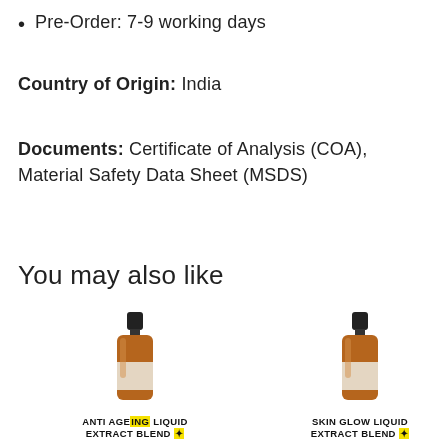Pre-Order: 7-9 working days
Country of Origin: India
Documents: Certificate of Analysis (COA), Material Safety Data Sheet (MSDS)
You may also like
[Figure (photo): Two amber glass dropper bottles with black caps. Left bottle labeled 'ANTI AGEING LIQUID EXTRACT BLEND' with yellow highlight. Right bottle labeled 'SKIN GLOW LIQUID EXTRACT BLEND' with yellow highlight. Accessibility icon (wheelchair symbol) in bottom left.]